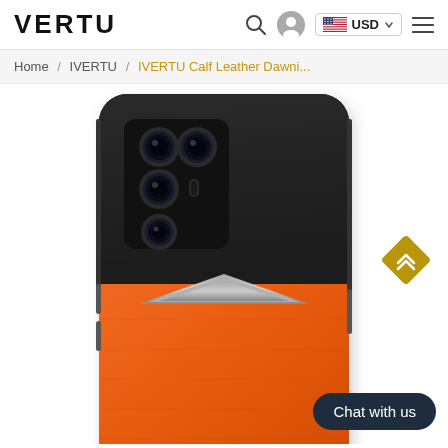VERTU
Home / IVERTU / IVERTU Calf Leather Dawni...
[Figure (photo): Back view of a smartphone with orange calf leather lower body and dark upper section with triple camera array, shown against white background]
Chat with us